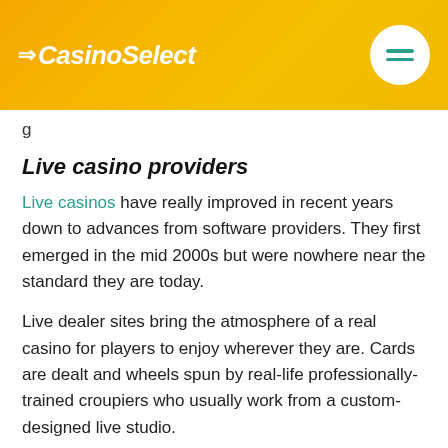CasinoSelect
g
Live casino providers
Live casinos have really improved in recent years down to advances from software providers. They first emerged in the mid 2000s but were nowhere near the standard they are today.
Live dealer sites bring the atmosphere of a real casino for players to enjoy wherever they are. Cards are dealt and wheels spun by real-life professionally-trained croupiers who usually work from a custom-designed live studio.
Players can place bets in a similar fashion to a random number generated (RNG) animation game. Of course, the live croupier will control the pace of the game and you can